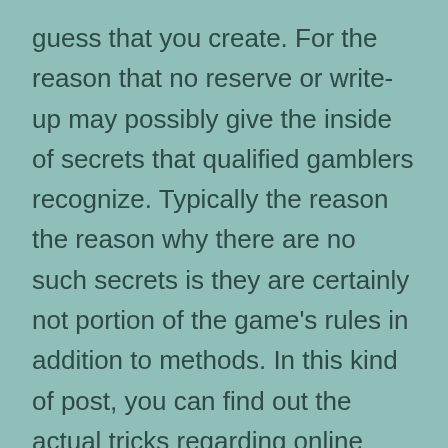guess that you create. For the reason that no reserve or write-up may possibly give the inside of secrets that qualified gamblers recognize. Typically the reason the reason why there are no such secrets is they are certainly not portion of the game's rules in addition to methods. In this kind of post, you can find out the actual tricks regarding online bets.
Bets strategy is usually a system associated with coping with losses and increases the chance associated with earning. In case you have a great on the web betting account plus you will be wanting to make a bet, a person will